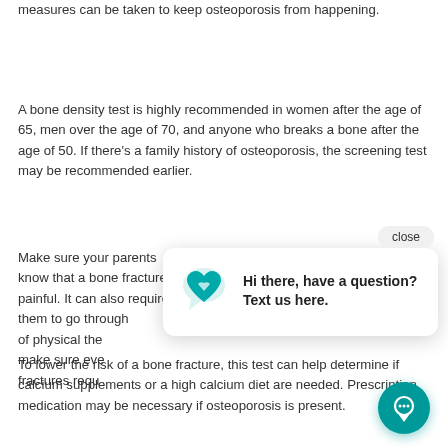measures can be taken to keep osteoporosis from happening.
A bone density test is highly recommended in women after the age of 65, men over the age of 70, and anyone who breaks a bone after the age of 50. If there’s a family history of osteoporosis, the screening test may be recommended earlier.
Make sure your parents know that a bone fracture is painful. It can also require them to go through of physical the make sure eve fractures requ
To lower the risk of a bone fracture, this test can help determine if calcium supplements or a high calcium diet are needed. Prescription medication may be necessary if osteoporosis is present.